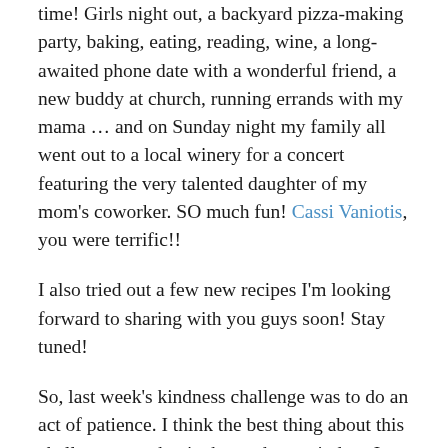time! Girls night out, a backyard pizza-making party, baking, eating, reading, wine, a long-awaited phone date with a wonderful friend, a new buddy at church, running errands with my mama … and on Sunday night my family all went out to a local winery for a concert featuring the very talented daughter of my mom's coworker. SO much fun! Cassi Vaniotis, you were terrific!!
I also tried out a few new recipes I'm looking forward to sharing with you guys soon! Stay tuned!
So, last week's kindness challenge was to do an act of patience. I think the best thing about this challenge was that it changed my mindset. I tried to approach these acts of patience with an open heart and thoughts of kindness, and what once seemed like a chore — waiting in the office for my eye doctor appointment, sitting in traffic, running